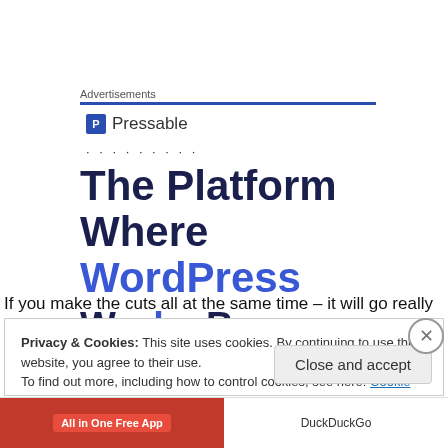Advertisements
[Figure (screenshot): Pressable advertisement banner showing logo and headline 'The Platform Where WordPress...']
If you make the cuts all at the same time – it will go really
Privacy & Cookies: This site uses cookies. By continuing to use this website, you agree to their use.
To find out more, including how to control cookies, see here: Cookie Policy
Close and accept